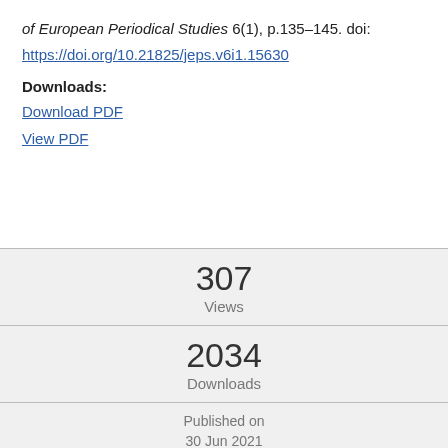of European Periodical Studies 6(1), p.135–145. doi:
https://doi.org/10.21825/jeps.v6i1.15630
Downloads:
Download PDF
View PDF
307
Views
2034
Downloads
Published on
30 Jun 2021
Peer Reviewed